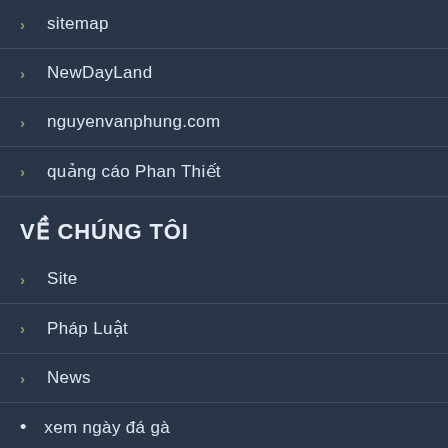sitemap
NewDayLand
nguyenvanphung.com
quảng cáo Phan Thiết
VỀ CHÚNG TÔI
Site
Pháp Luật
News
xem ngày đá gà